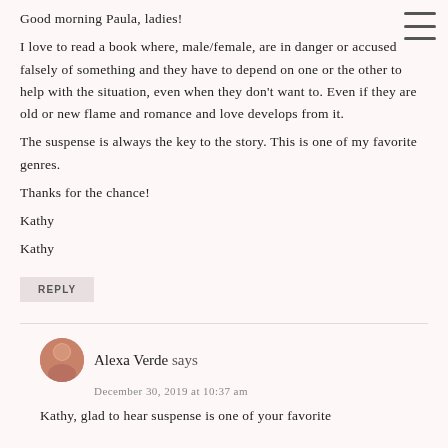Good morning Paula, ladies!
I love to read a book where, male/female, are in danger or accused falsely of something and they have to depend on one or the other to help with the situation, even when they don't want to. Even if they are old or new flame and romance and love develops from it.
The suspense is always the key to the story. This is one of my favorite genres.
Thanks for the chance!
Kathy
Kathy
REPLY
Alexa Verde says
December 30, 2019 at 10:37 am
Kathy, glad to hear suspense is one of your favorite